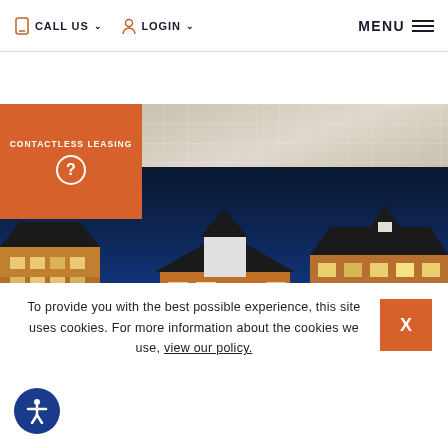CALL US  LOGIN  MENU
[Figure (screenshot): Orange contactless leasing banner with question mark icon, overlaid on interior ceiling/floor photo strip]
[Figure (photo): Night-time exterior photo of luxury apartment complex with pool in foreground, illuminated buildings against deep blue sky]
To provide you with the best possible experience, this site uses cookies. For more information about the cookies we use, view our policy.